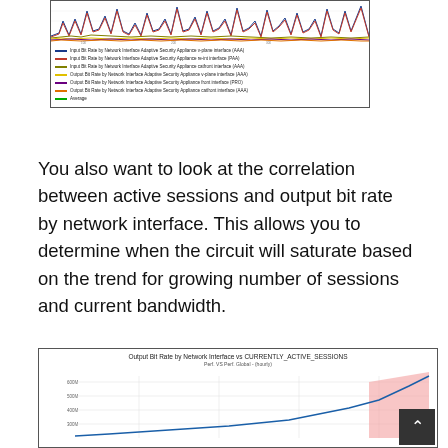[Figure (continuous-plot): Line chart showing input/output bit rates by network interface for Adaptive Security Appliance, with multiple colored lines (blue, red, olive, yellow, purple, orange) and a legend below. Chart shows time series data with spiky patterns.]
You also want to look at the correlation between active sessions and output bit rate by network interface. This allows you to determine when the circuit will saturate based on the trend for growing number of sessions and current bandwidth.
[Figure (scatter-plot): Scatter/line plot titled 'Output Bit Rate by Network Interface vs CURRENTLY_ACTIVE_SESSIONS, Perf. VS Perf. Global - (hourly)'. Y-axis: Network Interface-Gigabit (showing values 300M, 400M, 500M, 600M). Shows a rising line/curve with a pink/red shaded area at the top right.]